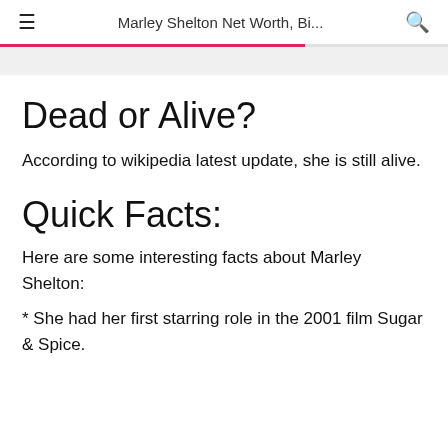Marley Shelton Net Worth, Bi...
Dead or Alive?
According to wikipedia latest update, she is still alive.
Quick Facts:
Here are some interesting facts about Marley Shelton:
* She had her first starring role in the 2001 film Sugar & Spice.